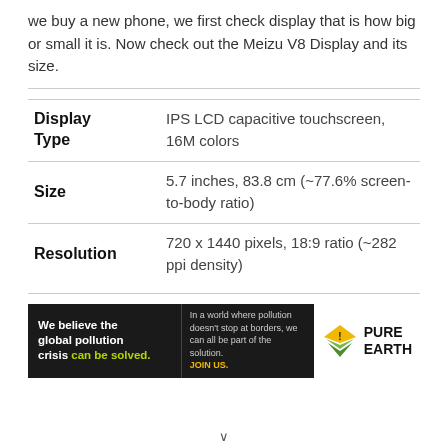we buy a new phone, we first check display that is how big or small it is. Now check out the Meizu V8 Display and its size.
| Attribute | Value |
| --- | --- |
| Display Type | IPS LCD capacitive touchscreen, 16M colors |
| Size | 5.7 inches, 83.8 cm (~77.6% screen-to-body ratio) |
| Resolution | 720 x 1440 pixels, 18:9 ratio (~282 ppi density) |
[Figure (infographic): Pure Earth advertisement banner: black background with white and green text on left saying 'We believe the global pollution crisis can be solved.' Middle text says 'In a world where pollution doesn't stop at borders, we can all be part of the solution. JOIN US.' Right side shows Pure Earth logo with diamond/leaf icon in yellow/green and bold black text 'PURE EARTH' on white background.]
∨